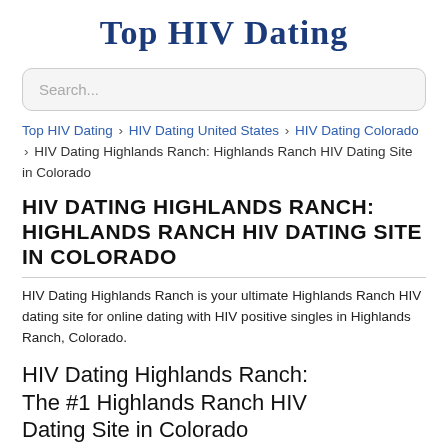Top HIV Dating
Search...
Top HIV Dating › HIV Dating United States › HIV Dating Colorado › HIV Dating Highlands Ranch: Highlands Ranch HIV Dating Site in Colorado
HIV DATING HIGHLANDS RANCH: HIGHLANDS RANCH HIV DATING SITE IN COLORADO
HIV Dating Highlands Ranch is your ultimate Highlands Ranch HIV dating site for online dating with HIV positive singles in Highlands Ranch, Colorado.
HIV Dating Highlands Ranch: The #1 Highlands Ranch HIV Dating Site in Colorado